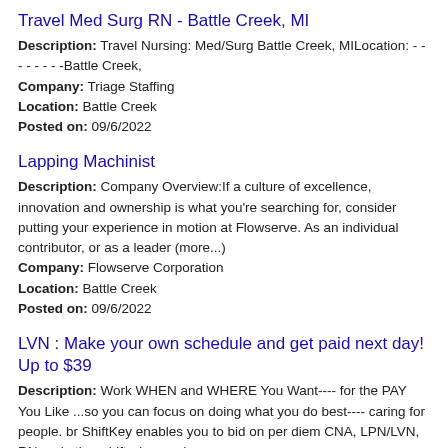Travel Med Surg RN - Battle Creek, MI
Description: Travel Nursing: Med/Surg Battle Creek, MILocation: - - - - - - - -Battle Creek,
Company: Triage Staffing
Location: Battle Creek
Posted on: 09/6/2022
Lapping Machinist
Description: Company Overview:If a culture of excellence, innovation and ownership is what you're searching for, consider putting your experience in motion at Flowserve. As an individual contributor, or as a leader (more...)
Company: Flowserve Corporation
Location: Battle Creek
Posted on: 09/6/2022
LVN : Make your own schedule and get paid next day! Up to $39
Description: Work WHEN and WHERE You Want---- for the PAY You Like ...so you can focus on doing what you do best---- caring for people. br ShiftKey enables you to bid on per diem CNA, LPN/LVN, RN and other shifts (more...)
Company: ShiftKey...